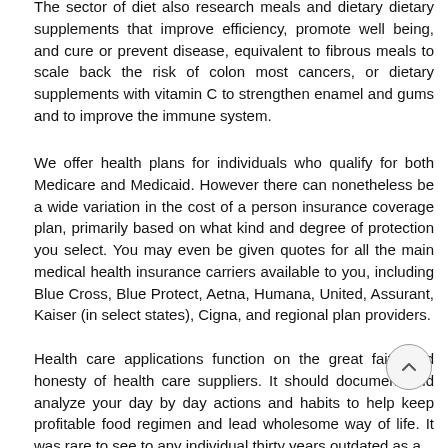The sector of diet also research meals and dietary dietary supplements that improve efficiency, promote well being, and cure or prevent disease, equivalent to fibrous meals to scale back the risk of colon most cancers, or dietary supplements with vitamin C to strengthen enamel and gums and to improve the immune system.
We offer health plans for individuals who qualify for both Medicare and Medicaid. However there can nonetheless be a wide variation in the cost of a person insurance coverage plan, primarily based on what kind and degree of protection you select. You may even be given quotes for all the main medical health insurance carriers available to you, including Blue Cross, Blue Protect, Aetna, Humana, United, Assurant, Kaiser (in select states), Cigna, and regional plan providers.
Health care applications function on the great faith and honesty of health care suppliers. It should document and analyze your day by day actions and habits to help keep profitable food regimen and lead wholesome way of life. It was rare to see to any individual thirty years outdated as a